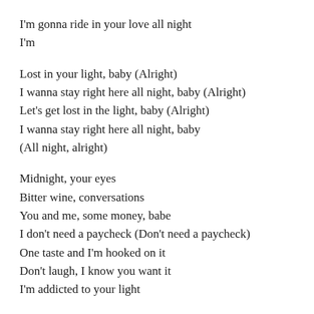I'm gonna ride in your love all night
I'm
Lost in your light, baby (Alright)
I wanna stay right here all night, baby (Alright)
Let's get lost in the light, baby (Alright)
I wanna stay right here all night, baby
(All night, alright)
Midnight, your eyes
Bitter wine, conversations
You and me, some money, babe
I don't need a paycheck (Don't need a paycheck)
One taste and I'm hooked on it
Don't laugh, I know you want it
I'm addicted to your light